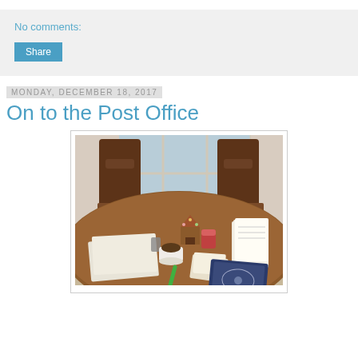No comments:
Share
Monday, December 18, 2017
On to the Post Office
[Figure (photo): A round wooden dining table with two wooden chairs, set in front of a multi-pane window. On the table are envelopes/letters, a coffee mug, a small decorative gingerbread house, a tin can, a stack of cards/envelopes, papers, a green pen, and a blue decorative journal/book.]